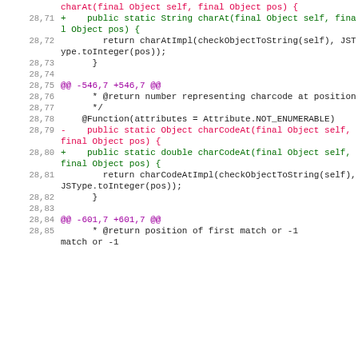code diff showing Java method changes for charAt and charCodeAt
28.71 + public static String charAt(final Object self, final Object pos) {
28.72         return charAtImpl(checkObjectToString(self), JSType.toInteger(pos));
28.73         }
28.74
28.75 @@ -546,7 +546,7 @@
28.76         * @return number representing charcode at position
28.77         */
28.78     @Function(attributes = Attribute.NOT_ENUMERABLE)
28.79 -   public static Object charCodeAt(final Object self, final Object pos) {
28.80 +   public static double charCodeAt(final Object self, final Object pos) {
28.81         return charCodeAtImpl(checkObjectToString(self), JSType.toInteger(pos));
28.82         }
28.83
28.84 @@ -601,7 +601,7 @@
28.85         * @return position of first match or -1